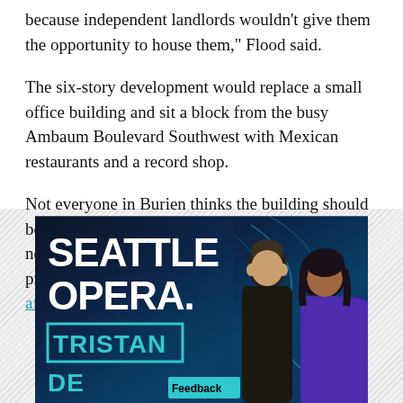because independent landlords wouldn't give them the opportunity to house them," Flood said.
The six-story development would replace a small office building and sit a block from the busy Ambaum Boulevard Southwest with Mexican restaurants and a record shop.
Not everyone in Burien thinks the building should be so close to downtown. Four business owners near the location are suing the city and claim the project doesn't meet Burien's standards for affordable housing.
[Figure (illustration): Seattle Opera advertisement featuring two performers and text 'SEATTLE OPERA. TRISTAN' with a teal/dark blue background. A Feedback button is visible.]